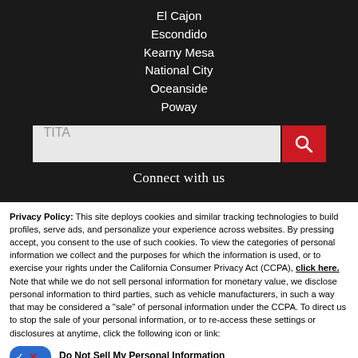El Cajon
Escondido
Kearny Mesa
National City
Oceanside
Poway
[Figure (screenshot): Search input field with placeholder text 'TITA' and a red search button with magnifying glass icon]
Connect with us
Privacy Policy: This site deploys cookies and similar tracking technologies to build profiles, serve ads, and personalize your experience across websites. By pressing accept, you consent to the use of such cookies. To view the categories of personal information we collect and the purposes for which the information is used, or to exercise your rights under the California Consumer Privacy Act (CCPA), click here. Note that while we do not sell personal information for monetary value, we disclose personal information to third parties, such as vehicle manufacturers, in such a way that may be considered a "sale" of personal information under the CCPA. To direct us to stop the sale of your personal information, or to re-access these settings or disclosures at anytime, click the following icon or link:
Do Not Sell My Personal Information
Language: English
Powered by ComplyAuto
Accept and Continue → | California Privacy Disclosures